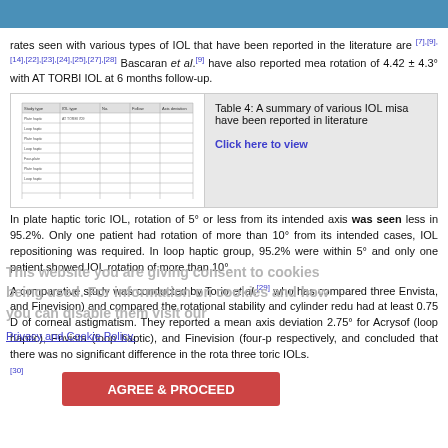rates seen with various types of IOL that have been reported in the literature are [7],[9],[14],[22],[23],[24],[25],[27],[28] Bascaran et al.[9] have also reported mean rotation of 4.42 ± 4.3° with AT TORBI IOL at 6 months follow-up.
[Figure (table-as-image): Thumbnail of Table 4 showing various IOL misalignment data]
Table 4: A summary of various IOL misalignments that have been reported in literature
Click here to view
In plate haptic toric IOL, rotation of 5° or less from its intended axis was seen in less in 95.2%. Only one patient had rotation of more than 10° from its intended cases, IOL repositioning was required. In loop haptic group, 95.2% were within 5° and only one patient showed IOL rotation of more than 10°.
A comparative study was conducted by Torio et al.[29] who has compared three Envista, and Finevision) and compared the rotational stability and cylinder reduction had at least 0.75 D of corneal astigmatism. They reported a mean axis deviation 2.75° for Acrysof (loop haptic), Envista (loop haptic), and Finevision (four-plate haptic) respectively, and concluded that there was no significant difference in the rotational stability of three toric IOLs.
[30]